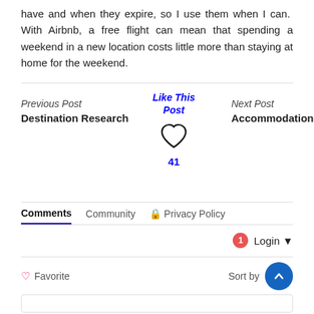have and when they expire, so I use them when I can.  With Airbnb, a free flight can mean that spending a weekend in a new location costs little more than staying at home for the weekend.
Previous Post
Destination Research
[Figure (other): Like This Post link with heart icon and count of 41]
Next Post
Accommodation
Comments  Community  Privacy Policy
Login
Favorite
Sort by